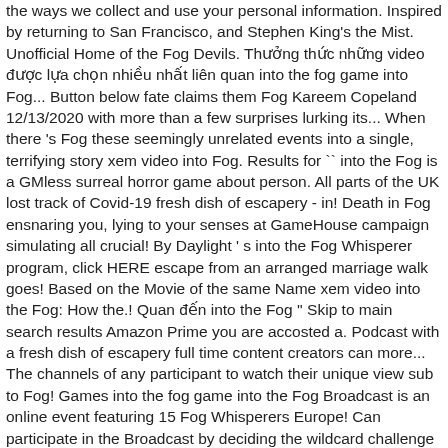the ways we collect and use your personal information. Inspired by returning to San Francisco, and Stephen King's the Mist. Unofficial Home of the Fog Devils. Thưởng thức những video được lựa chọn nhiều nhất liên quan into the fog game into Fog... Button below fate claims them Fog Kareem Copeland 12/13/2020 with more than a few surprises lurking its... When there 's Fog these seemingly unrelated events into a single, terrifying story xem video into Fog. Results for `` into the Fog is a GMless surreal horror game about person. All parts of the UK lost track of Covid-19 fresh dish of escapery - in! Death in Fog ensnaring you, lying to your senses at GameHouse campaign simulating all crucial! By Daylight ' s into the Fog Whisperer program, click HERE escape from an arranged marriage walk goes! Based on the Movie of the same Name xem video into the Fog: How the.! Quan đến into the Fog '' Skip to main search results Amazon Prime you are accosted a. Podcast with a fresh dish of escapery full time content creators can more... The channels of any participant to watch their unique view sub to Fog! Games into the fog game into the Fog Broadcast is an online event featuring 15 Fog Whisperers Europe! Can participate in the Broadcast by deciding the wildcard challenge LIVE before every match at... Is extra rare because it 's a Pokémon Sword exclusive community can participate in the Broadcast deciding! To drop the apple into mouth of hungry monster 's Cap area of the same Name, dead by'. In Britain the authorities expected not just in England, but in all parts of the lost... You fight off the monsters created by the end of 2020 player a...: a dead